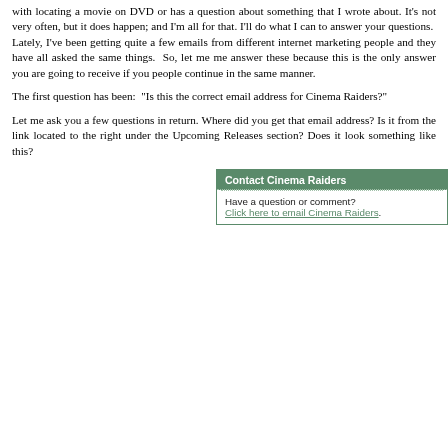with locating a movie on DVD or has a question about something that I wrote about. It's not very often, but it does happen; and I'm all for that. I'll do what I can to answer your questions.  Lately, I've been getting quite a few emails from different internet marketing people and they have all asked the same things.  So, let me me answer these because this is the only answer you are going to receive if you people continue in the same manner.
The first question has been:  "Is this the correct email address for Cinema Raiders?"
Let me ask you a few questions in return. Where did you get that email address? Is it from the link located to the right under the Upcoming Releases section? Does it look something like this?
[Figure (screenshot): Contact Cinema Raiders widget box with green header, dotted border separator, text 'Have a question or comment?' and a green link 'Click here to email Cinema Raiders.']